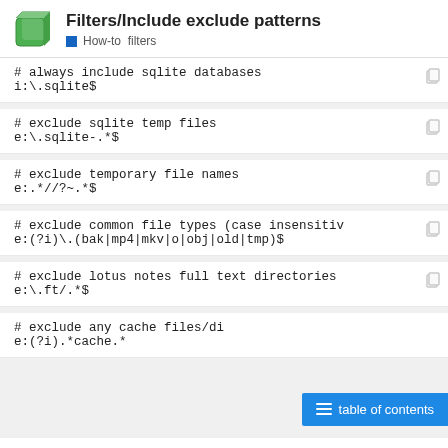Filters/Include exclude patterns  How-to  filters
# always include sqlite databases
i:\.sqlite$
# exclude sqlite temp files
e:\.sqlite-.*$
# exclude temporary file names
e:.*//?~.*$
# exclude common file types (case insensitive)
e:(?i)\.(bak|mp4|mkv|o|obj|old|tmp)$
# exclude lotus notes full text directories
e:\.ft/.*$
# exclude any cache files/di...
e:(?i).*cache.*